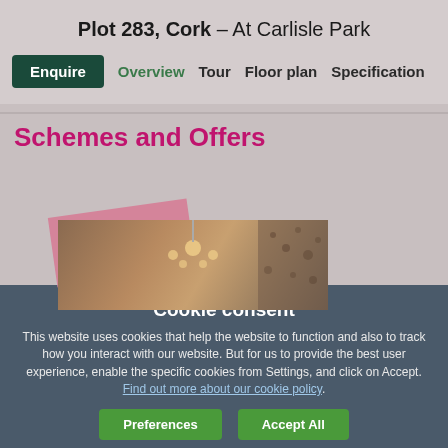Plot 283, Cork – At Carlisle Park
Enquire | Overview | Tour | Floor plan | Specification
Schemes and Offers
[Figure (photo): Interior photo showing a chandelier light fixture against a ceiling, with decorative wall textures]
Cookie consent
This website uses cookies that help the website to function and also to track how you interact with our website. But for us to provide the best user experience, enable the specific cookies from Settings, and click on Accept. Find out more about our cookie policy.